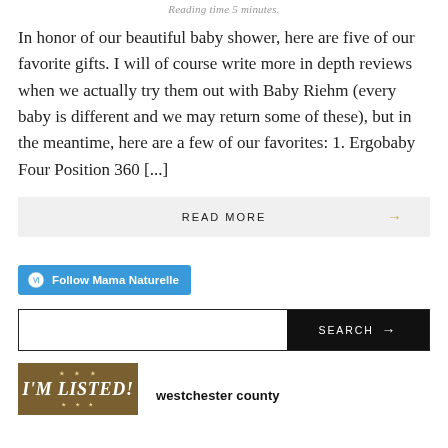Reading time 5 minutes.
In honor of our beautiful baby shower, here are five of our favorite gifts. I will of course write more in depth reviews when we actually try them out with Baby Riehm (every baby is different and we may return some of these), but in the meantime, here are a few of our favorites: 1. Ergobaby Four Position 360 [...]
READ MORE →
Follow Mama Naturelle
SEARCH →
[Figure (logo): I'M LISTED! badge logo in brown/gold]
westchester county